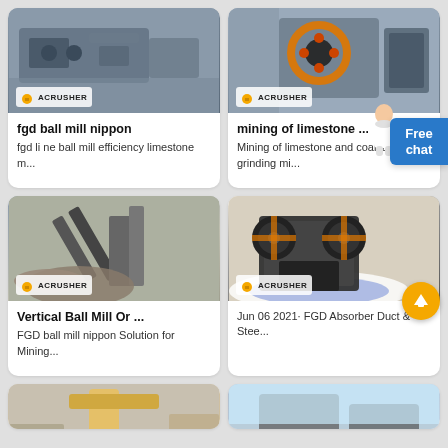[Figure (photo): Industrial machine (conveyor/crusher) with ACRUSHER badge, top-left card]
fgd ball mill nippon
fgd li ne ball mill efficiency limestone m...
[Figure (photo): Jaw crusher machine with orange circular detail, ACRUSHER badge, top-right card]
mining of limestone ...
Mining of limestone and coal japan grinding mi...
[Figure (photo): Industrial mining site with conveyor and piles, ACRUSHER badge, bottom-left card]
Vertical Ball Mill Or ...
FGD ball mill nippon Solution for Mining...
[Figure (photo): Large jaw crusher machine on blue/white floor, ACRUSHER badge, bottom-right card]
Jun 06 2021· FGD Absorber Duct & Stee...
[Figure (photo): Partial image bottom-left, yellow/brown construction equipment]
[Figure (photo): Partial image bottom-right, machine against blue sky]